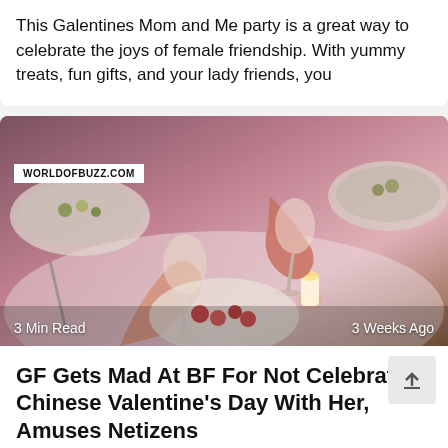This Galentines Mom and Me party is a great way to celebrate the joys of female friendship. With yummy treats, fun gifts, and your lady friends, you
[Figure (photo): Two people clinking wine glasses over a candlelit dinner table with various food dishes, with a WORLDOFBUZZ.COM watermark overlay]
3 Min Read   3 Weeks Ago
GF Gets Mad At BF For Not Celebrating Chinese Valentine's Day With Her, Amuses Netizens